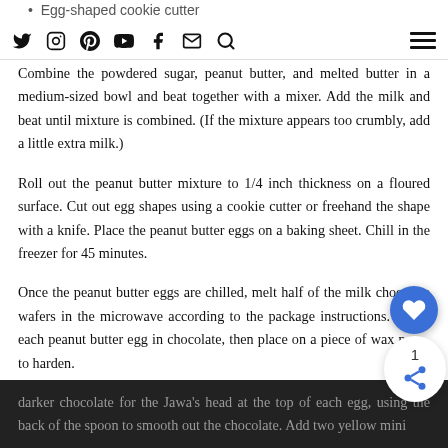Egg-shaped cookie cutter
[navigation icons: Twitter, Instagram, Pinterest, YouTube, Facebook, Email, Search, Menu]
Combine the powdered sugar, peanut butter, and melted butter in a medium-sized bowl and beat together with a mixer. Add the milk and beat until mixture is combined. (If the mixture appears too crumbly, add a little extra milk.)
Roll out the peanut butter mixture to 1/4 inch thickness on a floured surface. Cut out egg shapes using a cookie cutter or freehand the shape with a knife. Place the peanut butter eggs on a baking sheet. Chill in the freezer for 45 minutes.
Once the peanut butter eggs are chilled, melt half of the milk chocolate wafers in the microwave according to the package instructions. Cover each peanut butter egg in chocolate, then place on a piece of wax paper to harden.
Melt the remaining half of the milk chocolate wafers in the microwave according to the package instructions, then add a few drops of black food coloring to darken the chocolate. Using a spoon add a circle of darker chocolate for the Jawa's head at the top of each egg, using the back of the spoon to smooth out the chocolate. Add two yellow mini